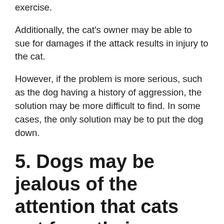exercise.
Additionally, the cat's owner may be able to sue for damages if the attack results in injury to the cat.
However, if the problem is more serious, such as the dog having a history of aggression, the solution may be more difficult to find. In some cases, the only solution may be to put the dog down.
5. Dogs may be jealous of the attention that cats get from their owners
They may also be jealous of other dogs in the family. Jealousy is a normal emotion, but